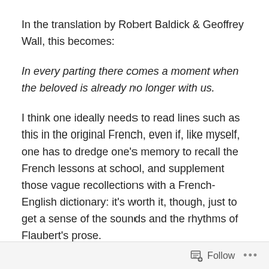In the translation by Robert Baldick & Geoffrey Wall, this becomes:
In every parting there comes a moment when the beloved is already no longer with us.
I think one ideally needs to read lines such as this in the original French, even if, like myself, one has to dredge one's memory to recall the French lessons at school, and supplement those vague recollections with a French-English dictionary: it's worth it, though, just to get a sense of the sounds and the rhythms of Flaubert's prose.
Since we are on the subject of L'Education Sentimentale, I can't resist quoting that famous passage at the start of Part 3, Chapter 6...